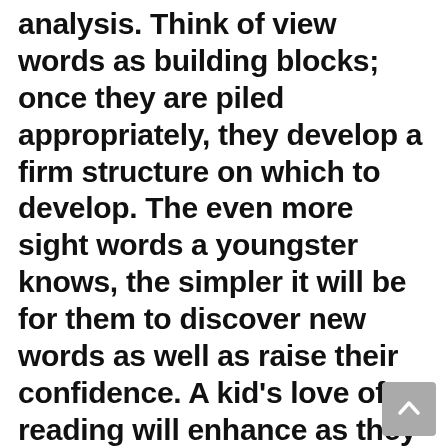analysis. Think of view words as building blocks; once they are piled appropriately, they develop a firm structure on which to develop. The even more sight words a youngster knows, the simpler it will be for them to discover new words as well as raise their confidence. A kid's love of reading will enhance as they find out new words.
To start with, this step in their analysis journey, present a handful of brand-new sight words per lesson. Make certain your kid acknowledges  these words, and the typical audio they make, after that build on that. One lesson ought to